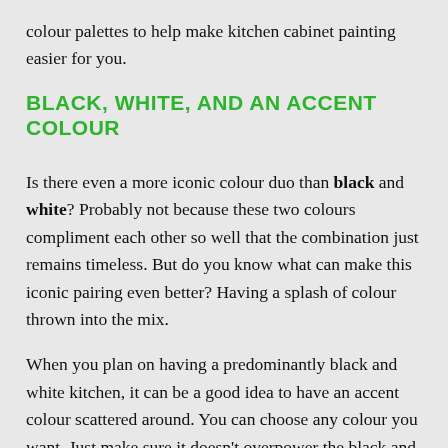colour palettes to help make kitchen cabinet painting easier for you.
BLACK, WHITE, AND AN ACCENT COLOUR
Is there even a more iconic colour duo than black and white? Probably not because these two colours compliment each other so well that the combination just remains timeless. But do you know what can make this iconic pairing even better? Having a splash of colour thrown into the mix.
When you plan on having a predominantly black and white kitchen, it can be a good idea to have an accent colour scattered around. You can choose any colour you want. Just make sure it doesn't overpower the black and white aesthetic. You can have it in small amounts, such as in your